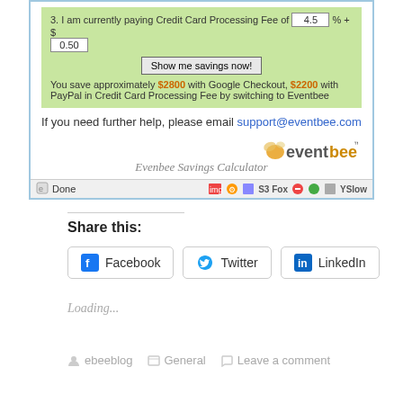[Figure (screenshot): Screenshot of Eventbee Savings Calculator web page showing a green calculator box with credit card processing fee inputs (4.5% + $0.50), a 'Show me savings now!' button, savings text showing $2800 with Google Checkout and $2200 with PayPal, a help email link (support@eventbee.com), and the Eventbee logo. Browser status bar at bottom shows 'Done'.]
Evenbee Savings Calculator
Share this:
Facebook
Twitter
LinkedIn
Loading...
ebeeblog   General   Leave a comment